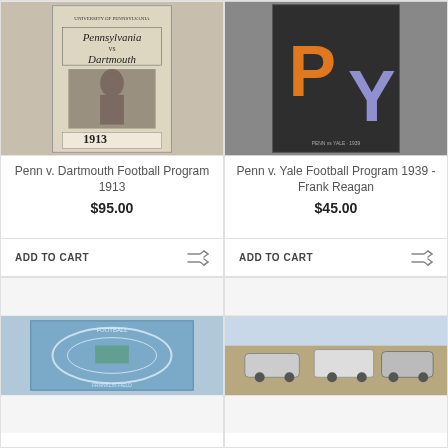[Figure (photo): Penn v. Dartmouth Football Program 1913 book cover photo]
Penn v. Dartmouth Football Program 1913
$95.00
ADD TO CART
[Figure (photo): Penn v. Yale Football Program 1939 - Frank Reagan book cover with large P and Y letters]
Penn v. Yale Football Program 1939 - Frank Reagan
$45.00
ADD TO CART
[Figure (photo): Partial view of a football program with stadium image in blue tones]
[Figure (photo): Partial view of a football program with vehicles/cars on the cover]